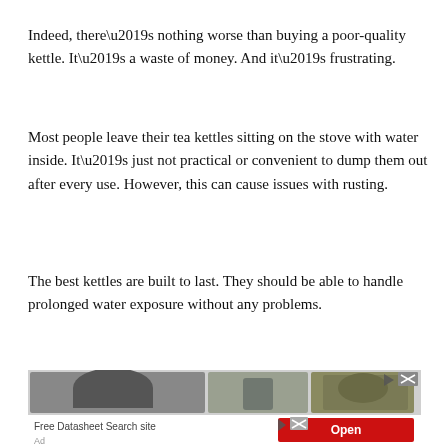Indeed, there’s nothing worse than buying a poor-quality kettle. It’s a waste of money. And it’s frustrating.
Most people leave their tea kettles sitting on the stove with water inside. It’s just not practical or convenient to dump them out after every use. However, this can cause issues with rusting.
The best kettles are built to last. They should be able to handle prolonged water exposure without any problems.
[Figure (other): Advertisement banner showing outdoor clothing items (jacket, pants, camo jacket) with a red Open button and close/play icons. Also shows a secondary ad for Free Datasheet Search site with Ad label.]